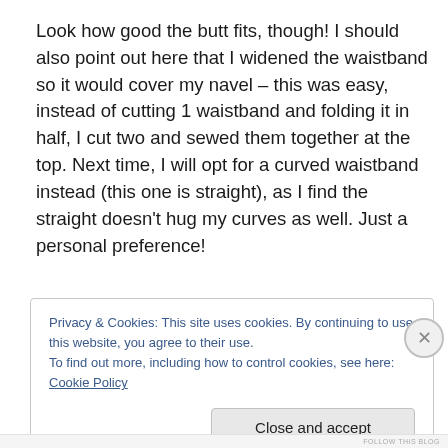Look how good the butt fits, though! I should also point out here that I widened the waistband so it would cover my navel – this was easy, instead of cutting 1 waistband and folding it in half, I cut two and sewed them together at the top. Next time, I will opt for a curved waistband instead (this one is straight), as I find the straight doesn't hug my curves as well. Just a personal preference!
Privacy & Cookies: This site uses cookies. By continuing to use this website, you agree to their use.
To find out more, including how to control cookies, see here: Cookie Policy